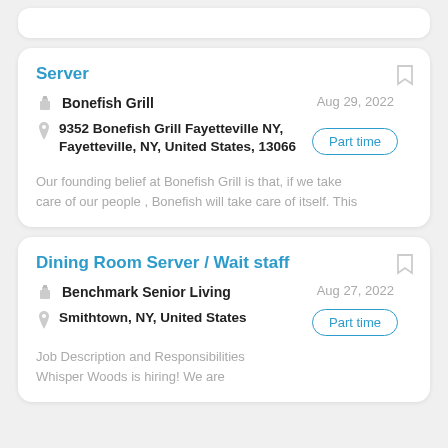Server
Bonefish Grill
9352 Bonefish Grill Fayetteville NY, Fayetteville, NY, United States, 13066
Aug 29, 2022
Part time
Our founding belief at Bonefish Grill is that, if we take care of our people , Bonefish will take care of itself. This
Dining Room Server / Wait staff
Benchmark Senior Living
Smithtown, NY, United States
Aug 27, 2022
Part time
Job Description and Responsibilities Whisper Woods is hiring! We are